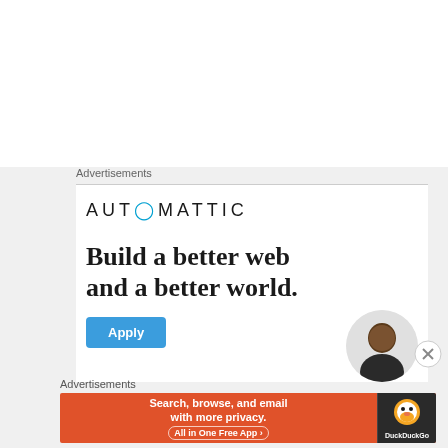Advertisements
[Figure (infographic): Automattic advertisement: logo reading AUTOMATTIC with a circular blue 'O', tagline 'Build a better web and a better world.', blue Apply button, and partial image of a smiling person in the bottom right corner.]
Advertisements
[Figure (infographic): DuckDuckGo advertisement banner: orange background with white text 'Search, browse, and email with more privacy. All in One Free App', dark right panel with DuckDuckGo duck logo and 'DuckDuckGo' text.]